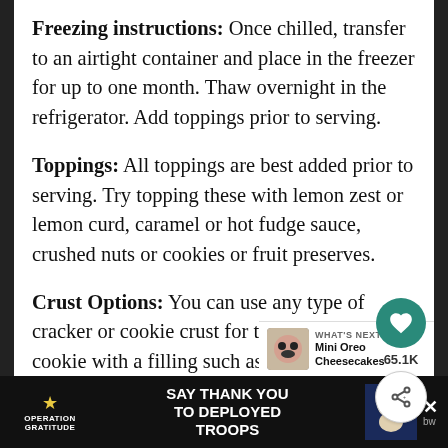Freezing instructions: Once chilled, transfer to an airtight container and place in the freezer for up to one month. Thaw overnight in the refrigerator. Add toppings prior to serving.
Toppings: All toppings are best added prior to serving. Try topping these with lemon zest or lemon curd, caramel or hot fudge sauce, crushed nuts or cookies or fruit preserves.
Crust Options: You can use any type of cracker or cookie crust for these. If using a cookie with a filling such as Oreos, reduce the butter by 1 tablespoon.
[Figure (other): Social interaction buttons: heart/like button showing 65.1K likes, and a share button]
[Figure (other): What's Next promo: Mini Oreo Cheesecakes thumbnail]
[Figure (other): Advertisement banner: Operation Gratitude - SAY THANK YOU TO DEPLOYED TROOPS]